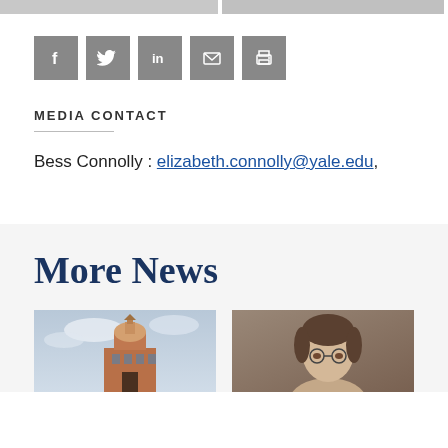[Figure (photo): Two partial image thumbnails at top of page, cropped]
[Figure (infographic): Row of social media sharing icons: Facebook, Twitter, LinkedIn, Email, Print]
MEDIA CONTACT
Bess Connolly : elizabeth.connolly@yale.edu,
More News
[Figure (photo): Photo of a building with a domed tower against a cloudy sky]
[Figure (photo): Headshot of a person wearing glasses against a brownish background]